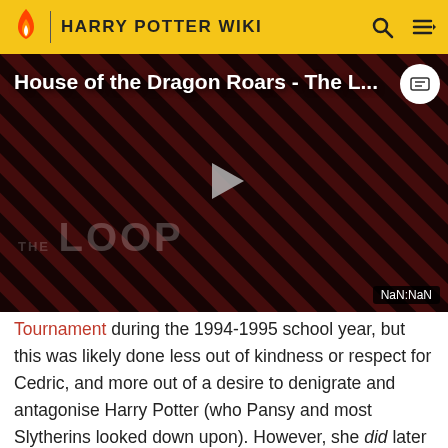HARRY POTTER WIKI
[Figure (screenshot): Video thumbnail for 'House of the Dragon Roars - The L...' showing two people against a diagonal red and black striped background with 'THE LOOP' text overlay, a play button, and a NaN:NaN time display]
Tournament during the 1994-1995 school year, but this was likely done less out of kindness or respect for Cedric, and more out of a desire to denigrate and antagonise Harry Potter (who Pansy and most Slytherins looked down upon). However, she did later refer to Cedric as